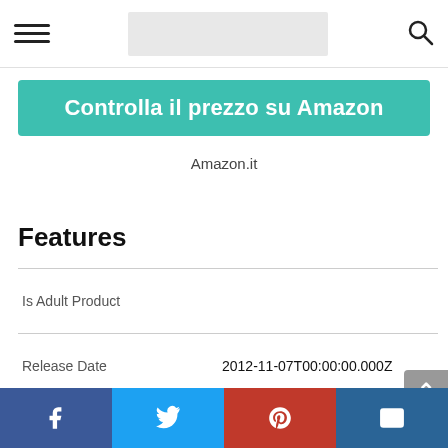Navigation bar with hamburger menu, logo area, and search icon
Controlla il prezzo su Amazon
Amazon.it
Features
| Feature | Value |
| --- | --- |
| Is Adult Product |  |
| Release Date | 2012-11-07T00:00:00.000Z |
| Language | Italiano |
| Number Of Pages | 127 |
| Publication Date | 2012-11-07T00:00:00.000Z |
| Format | eBook Kindle |
Social share bar: Facebook, Twitter, Pinterest, Email